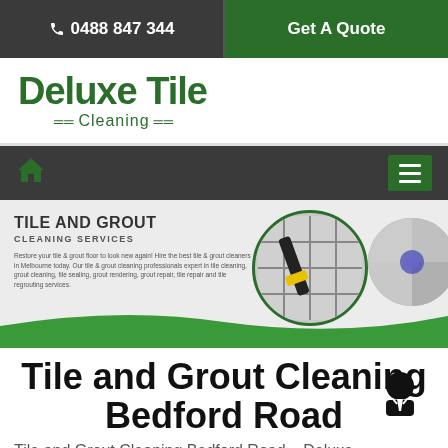☎ 0488 847 344 | Get A Quote
Deluxe Tile Cleaning
Home | Menu
[Figure (screenshot): Hero banner with tile and grout cleaning service imagery and two circular photo insets showing cleaning equipment on tiles, with text: TILE AND GROUT CLEANING SERVICES]
Tile and Grout Cleaning Bedford Road
Tile and Grout Cleaning Bedford Road – Deluxe